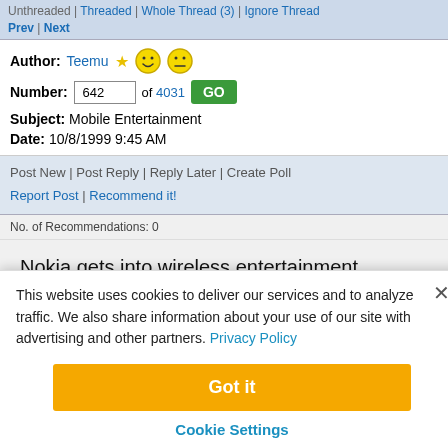Unthreaded | Threaded | Whole Thread (3) | Ignore Thread
Prev | Next
Author: Teemu
Number: 642 of 4031 GO
Subject: Mobile Entertainment
Date: 10/8/1999 9:45 AM
Post New | Post Reply | Reply Later | Create Poll
Report Post | Recommend it!
No. of Recommendations: 0
Nokia gets into wireless entertainment.

Does this make sense?
This website uses cookies to deliver our services and to analyze traffic. We also share information about your use of our site with advertising and other partners. Privacy Policy

Got it

Cookie Settings